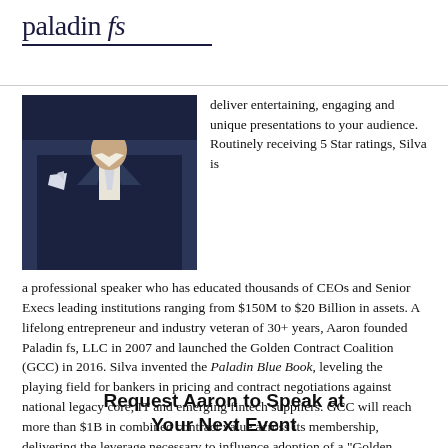[Figure (logo): Paladin fs logo in dark navy text with italic 'fs', underlined]
[Figure (photo): Professional photo of a man in a dark navy suit with white pocket square, cropped to show torso]
deliver entertaining, engaging and unique presentations to your audience. Routinely receiving 5 Star ratings, Silva is a professional speaker who has educated thousands of CEOs and Senior Execs leading institutions ranging from $150M to $20 Billion in assets. A lifelong entrepreneur and industry veteran of 30+ years, Aaron founded Paladin fs, LLC in 2007 and launched the Golden Contract Coalition (GCC) in 2016. Silva invented the Paladin Blue Book, leveling the playing field for bankers in pricing and contract negotiations against national legacy core, IT and emerging fintech suppliers. GCC will reach more than $1B in combined contract value across its membership, delivering the leverage necessary to influence adoption of a "Golden Contract" standard that all technology suppliers will ultimately adopt in order to conduct business and lower risk within our industry.
Request Aaron to Speak at Your Next Event